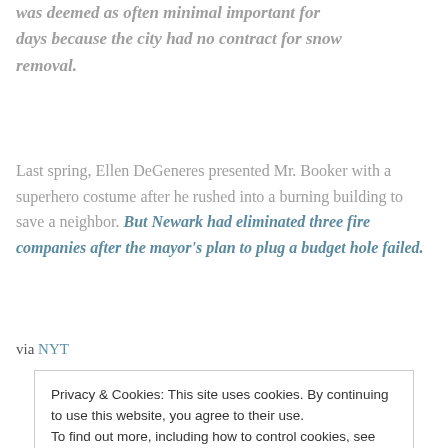was deemed as often minimal important for days because the city had no contract for snow removal.
Last spring, Ellen DeGeneres presented Mr. Booker with a superhero costume after he rushed into a burning building to save a neighbor. But Newark had eliminated three fire companies after the mayor's plan to plug a budget hole failed.
via NYT
Privacy & Cookies: This site uses cookies. By continuing to use this website, you agree to their use. To find out more, including how to control cookies, see here: Cookie Policy
Close and accept